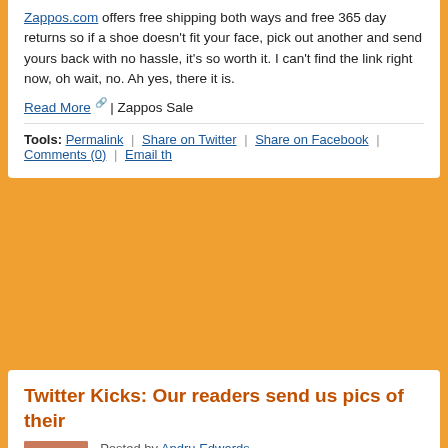Zappos.com offers free shipping both ways and free 365 day returns so if a shoe doesn't fit your face, pick out another and send yours back with no hassle, it's so worth it. I can't find the link right now, oh wait, no. Ah yes, there it is.
Read More | Zappos Sale
Tools: Permalink | Share on Twitter | Share on Facebook | Comments (0) | Email th...
Twitter Kicks: Our readers send us pics of their...
Posted by Andru Edwards
Categories: Site Features, Men, Women, Footwear, Sneakers,